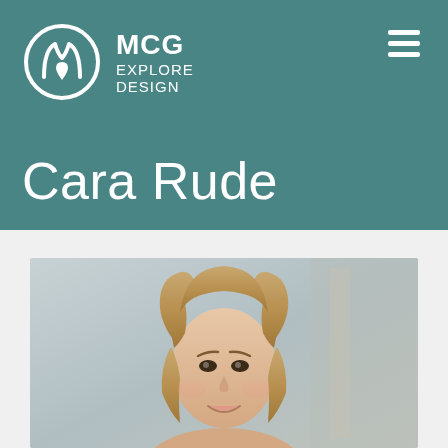[Figure (logo): MCG Explore Design logo with circular flame/drop icon and text MCG EXPLORE DESIGN on teal background]
Cara Rude
[Figure (photo): Professional headshot photo of Cara Rude, a woman with blonde shoulder-length wavy hair, smiling, photographed against a light blurred background]